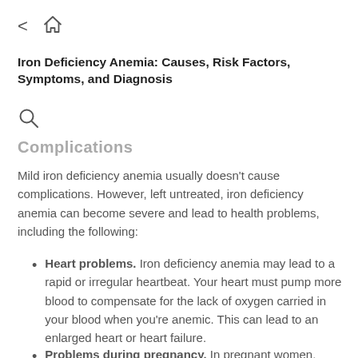< [home icon]
Iron Deficiency Anemia: Causes, Risk Factors, Symptoms, and Diagnosis
[Figure (other): Search icon (magnifying glass)]
Complications
Mild iron deficiency anemia usually doesn't cause complications. However, left untreated, iron deficiency anemia can become severe and lead to health problems, including the following:
Heart problems. Iron deficiency anemia may lead to a rapid or irregular heartbeat. Your heart must pump more blood to compensate for the lack of oxygen carried in your blood when you're anemic. This can lead to an enlarged heart or heart failure.
Problems during pregnancy. In pregnant women, severe iron